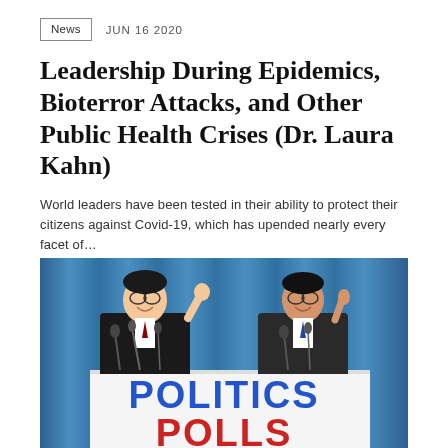News   JUN 16 2020
Leadership During Epidemics, Bioterror Attacks, and Other Public Health Crises (Dr. Laura Kahn)
World leaders have been tested in their ability to protect their citizens against Covid-19, which has upended nearly every facet of...
[Figure (photo): Book cover showing two men at a press conference podium in front of a blue curtain, with large text 'POLITICS POLLS' visible at the bottom of the image.]